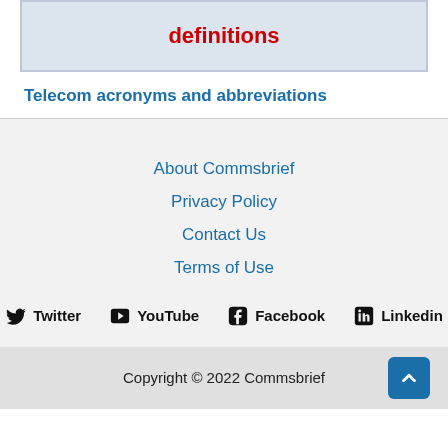[Figure (illustration): Image box with red bold text reading 'definitions' on a light blue/grey background with a border]
Telecom acronyms and abbreviations
About Commsbrief
Privacy Policy
Contact Us
Terms of Use
Twitter  YouTube  Facebook  Linkedin
Copyright © 2022 Commsbrief